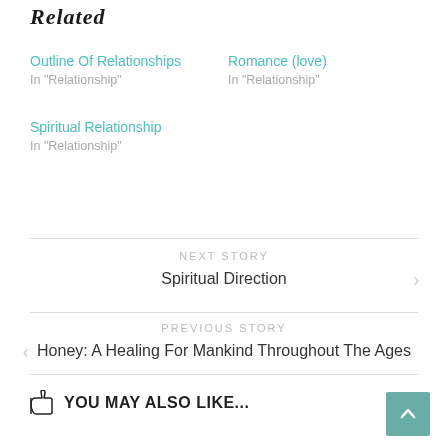Related
Outline Of Relationships
In "Relationship"
Romance (love)
In "Relationship"
Spiritual Relationship
In "Relationship"
NEXT STORY
Spiritual Direction
PREVIOUS STORY
Honey: A Healing For Mankind Throughout The Ages
YOU MAY ALSO LIKE...